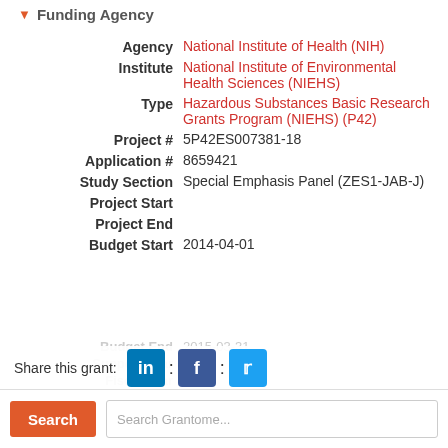Funding Agency
Agency: National Institute of Health (NIH)
Institute: National Institute of Environmental Health Sciences (NIEHS)
Type: Hazardous Substances Basic Research Grants Program (NIEHS) (P42)
Project #: 5P42ES007381-18
Application #: 8659421
Study Section: Special Emphasis Panel (ZES1-JAB-J)
Project Start:
Project End:
Budget Start: 2014-04-01
Budget End: 2015-03-31
Support Year: 18
Fiscal Year: 2014